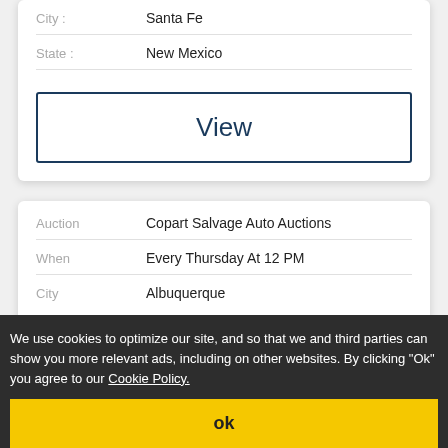City : Santa Fe
State : New Mexico
View
Auction : Copart Salvage Auto Auctions
When : Every Thursday At 12 PM
City : Albuquerque
We use cookies to optimize our site, and so that we and third parties can show you more relevant ads, including on other websites. By clicking "Ok" you agree to our Cookie Policy.
ok